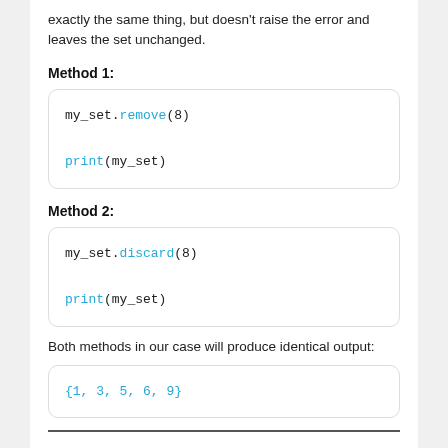exactly the same thing, but doesn't raise the error and leaves the set unchanged.
Method 1:
[Figure (screenshot): Code block showing: my_set.remove(8) followed by print(my_set)]
Method 2:
[Figure (screenshot): Code block showing: my_set.discard(8) followed by print(my_set)]
Both methods in our case will produce identical output:
[Figure (screenshot): Output block showing: {1, 3, 5, 6, 9}]
Remove multiple elements